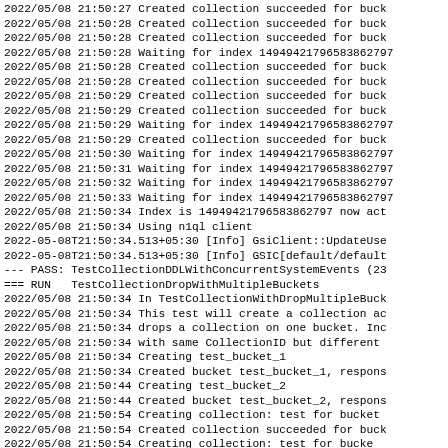2022/05/08 21:50:27 Created collection succeeded for buck
2022/05/08 21:50:28 Created collection succeeded for buck
2022/05/08 21:50:28 Created collection succeeded for buck
2022/05/08 21:50:28 Waiting for index 14949421796583862797
2022/05/08 21:50:28 Created collection succeeded for buck
2022/05/08 21:50:28 Created collection succeeded for buck
2022/05/08 21:50:29 Created collection succeeded for buck
2022/05/08 21:50:29 Created collection succeeded for buck
2022/05/08 21:50:29 Waiting for index 14949421796583862797
2022/05/08 21:50:29 Created collection succeeded for buck
2022/05/08 21:50:30 Waiting for index 14949421796583862797
2022/05/08 21:50:31 Waiting for index 14949421796583862797
2022/05/08 21:50:32 Waiting for index 14949421796583862797
2022/05/08 21:50:33 Waiting for index 14949421796583862797
2022/05/08 21:50:34 Index is 14949421796583862797 now act
2022/05/08 21:50:34 Using n1ql client
2022-05-08T21:50:34.513+05:30 [Info] GsiClient::UpdateUse
2022-05-08T21:50:34.513+05:30 [Info] GSIC[default/default
--- PASS: TestCollectionDDLWithConcurrentSystemEvents (23
=== RUN   TestCollectionDropWithMultipleBuckets
2022/05/08 21:50:34 In TestCollectionWithDropMultipleBuck
2022/05/08 21:50:34 This test will create a collection ac
2022/05/08 21:50:34 drops a collection on one bucket. Inc
2022/05/08 21:50:34 with same CollectionID but different
2022/05/08 21:50:34 Creating test_bucket_1
2022/05/08 21:50:34 Created bucket test_bucket_1, respons
2022/05/08 21:50:44 Creating test_bucket_2
2022/05/08 21:50:44 Created bucket test_bucket_2, respons
2022/05/08 21:50:54 Creating collection: test for bucket
2022/05/08 21:50:54 Created collection succeeded for buck
2022/05/08 21:50:54 Creating collection: test for bucke